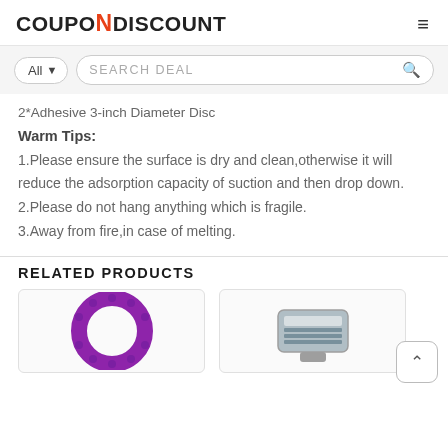COUPON N DISCOUNT
2*Adhesive 3-inch Diameter Disc
Warm Tips:
1.Please ensure the surface is dry and clean,otherwise it will reduce the adsorption capacity of suction and then drop down.
2.Please do not hang anything which is fragile.
3.Away from fire,in case of melting.
RELATED PRODUCTS
[Figure (photo): Purple silicone ring product image]
[Figure (photo): Silver metallic tool/device product image]